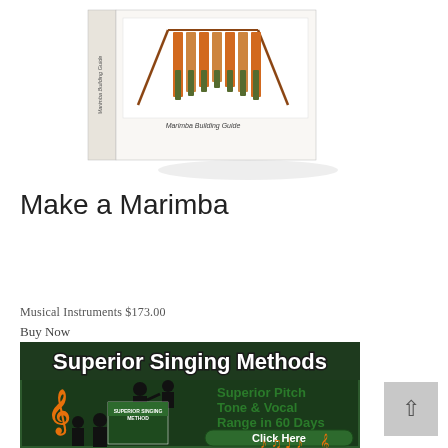[Figure (photo): Stack of books titled 'Marimba Building Guide' with a marimba instrument illustration on the cover, shown in a 3D product photo arrangement]
Make a Marimba
Musical Instruments $173.00
Buy Now
[Figure (illustration): Advertisement banner for 'Superior Singing Methods' with dark green background, showing silhouettes of singers, a treble clef, a product box labeled 'Superior Singing Method', text reading 'Superior Pitch Tone & Vocal Range in 60 Days', a 'Click Here' button, and musical notes]